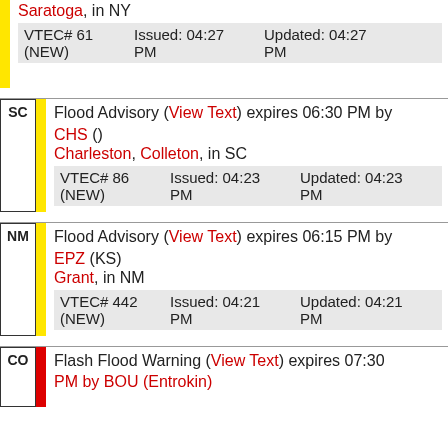Saratoga, in NY
VTEC# 61 (NEW)
Issued: 04:27 PM
Updated: 04:27 PM
SC Flood Advisory (View Text) expires 06:30 PM by CHS ()
Charleston, Colleton, in SC
VTEC# 86 (NEW)
Issued: 04:23 PM
Updated: 04:23 PM
NM Flood Advisory (View Text) expires 06:15 PM by EPZ (KS)
Grant, in NM
VTEC# 442 (NEW)
Issued: 04:21 PM
Updated: 04:21 PM
CO Flash Flood Warning (View Text) expires 07:30 PM by BOU (Entrokin)